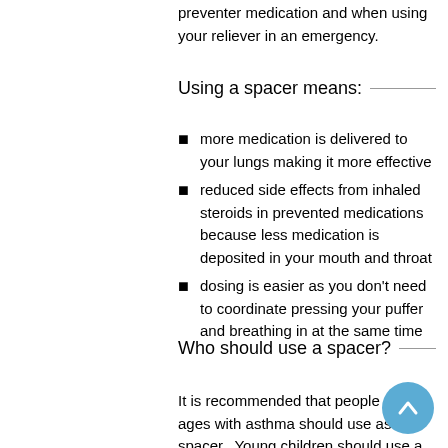preventer medication and when using your reliever in an emergency.
Using a spacer means:
more medication is delivered to your lungs making it more effective
reduced side effects from inhaled steroids in prevented medications because less medication is deposited in your mouth and throat
dosing is easier as you don't need to coordinate pressing your puffer and breathing in at the same time
Who should use a spacer?
It is recommended that people of all ages with asthma should use as spacer.  Young children should use a face mask with their spacer.  Once they are about two years of age you can introduce